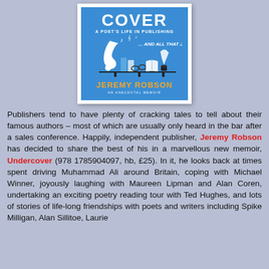[Figure (illustration): Book cover of 'Undercover: A Poet's Life in Publishing... And All That Jazz' by Jeremy Robson. Blue cover with white illustrated saxophone, musical notes, books, glasses, quill and ink. Subtitle: An Anecdotal Memoir.]
Publishers tend to have plenty of cracking tales to tell about their famous authors – most of which are usually only heard in the bar after a sales conference. Happily, independent publisher, Jeremy Robson has decided to share the best of his in a marvellous new memoir, Undercover (978 1785904097, hb, £25). In it, he looks back at times spent driving Muhammad Ali around Britain, coping with Michael Winner, joyously laughing with Maureen Lipman and Alan Coren, undertaking an exciting poetry reading tour with Ted Hughes, and lots of stories of life-long friendships with poets and writers including Spike Milligan, Alan Sillitoe, Laurie...